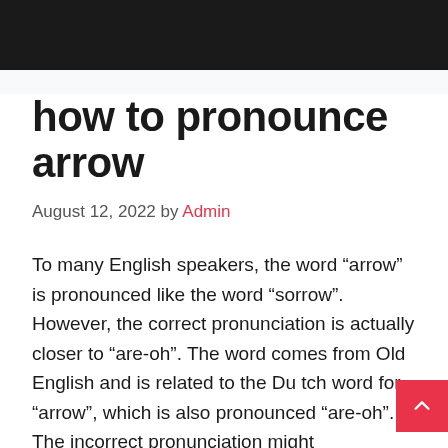how to pronounce arrow
August 12, 2022 by Admin
To many English speakers, the word “arrow” is pronounced like the word “sorrow”. However, the correct pronunciation is actually closer to “are-oh”. The word comes from Old English and is related to the Dutch word for “arrow”, which is also pronounced “are-oh”. The incorrect pronunciation might